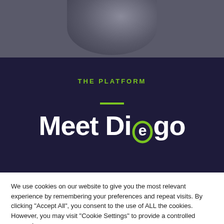[Figure (photo): Background photo of a person, dark overlaid with deep navy blue section]
THE PLATFORM
Meet Diego
We use cookies on our website to give you the most relevant experience by remembering your preferences and repeat visits. By clicking "Accept All", you consent to the use of ALL the cookies. However, you may visit "Cookie Settings" to provide a controlled consent.